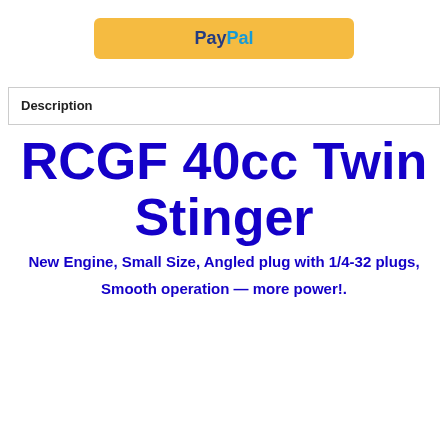[Figure (logo): PayPal button with yellow/gold background, 'Pay' in dark blue and 'Pal' in light blue bold text]
Description
RCGF 40cc Twin Stinger
New Engine, Small Size, Angled plug with 1/4-32 plugs,
Smooth operation — more power!.